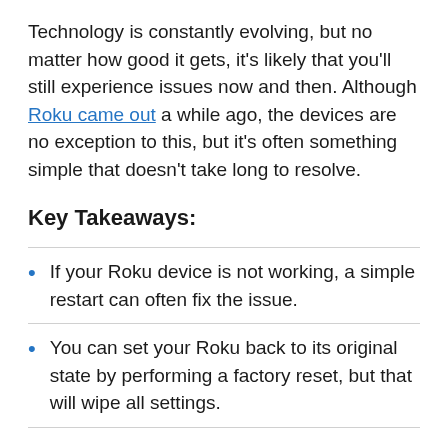Technology is constantly evolving, but no matter how good it gets, it's likely that you'll still experience issues now and then. Although Roku came out a while ago, the devices are no exception to this, but it's often something simple that doesn't take long to resolve.
Key Takeaways:
If your Roku device is not working, a simple restart can often fix the issue.
You can set your Roku back to its original state by performing a factory reset, but that will wipe all settings.